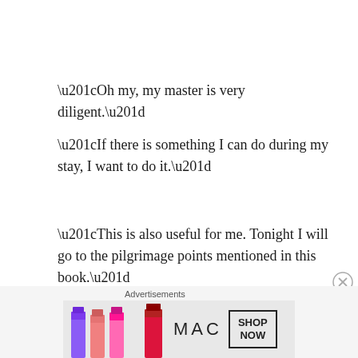“Oh my, my master is very diligent.”
“If there is something I can do during my stay, I want to do it.”
“This is also useful for me. Tonight I will go to the pilgrimage points mentioned in this book.”
Palug brought a wagon with silver dishes.
Advertisements
[Figure (photo): MAC cosmetics advertisement showing colorful lipsticks with MAC logo and SHOP NOW button]